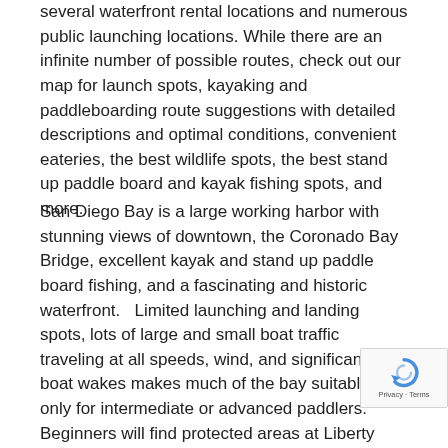several waterfront rental locations and numerous public launching locations.  While there are an infinite number of possible routes, check out our map for launch spots, kayaking and paddleboarding route suggestions with detailed descriptions and optimal conditions, convenient eateries, the best wildlife spots, the best stand up paddle board and kayak fishing spots, and more.
San Diego Bay is a large working harbor with stunning views of downtown, the Coronado Bay Bridge, excellent kayak and stand up paddle board fishing, and a fascinating and historic waterfront.   Limited launching and landing spots, lots of large and small boat traffic traveling at all speeds, wind, and significant boat wakes makes much of the bay suitable only for intermediate or advanced paddlers.  Beginners will find protected areas at Liberty Station behind Harbor Island, on Coronado Island near Glorietta Bay or at Tidelands Park, and a Street Marine at the south end of the bay.  Visit our map